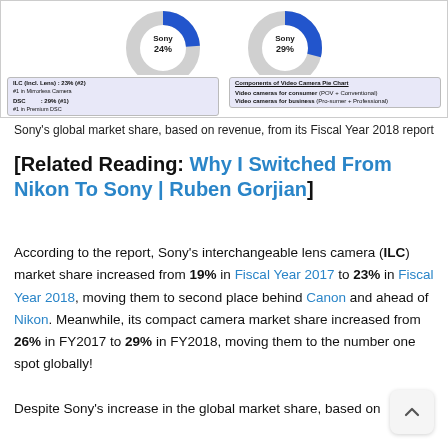[Figure (donut-chart): Two donut charts showing Sony's global market share. Left chart: Sony 24% (ILC incl. Lens: 23% #2, DSC: 29% #1). Right chart: Sony 29% (Components of Video Camera Pie Chart). Legend boxes show ILC and DSC categories.]
Sony's global market share, based on revenue, from its Fiscal Year 2018 report
[Related Reading: Why I Switched From Nikon To Sony | Ruben Gorjian]
According to the report, Sony's interchangeable lens camera (ILC) market share increased from 19% in Fiscal Year 2017 to 23% in Fiscal Year 2018, moving them to second place behind Canon and ahead of Nikon. Meanwhile, its compact camera market share increased from 26% in FY2017 to 29% in FY2018, moving them to the number one spot globally!

Despite Sony's increase in the global market share, based on